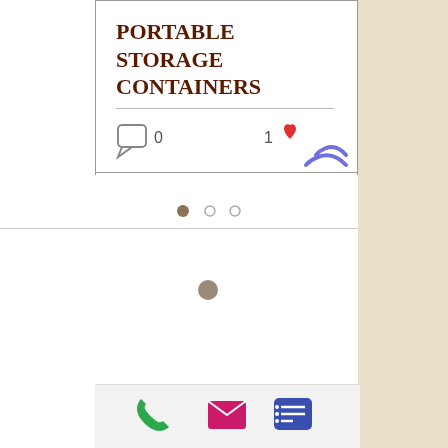PORTABLE STORAGE CONTAINERS
[Figure (screenshot): Card UI element showing a title 'PORTABLE STORAGE CONTAINERS' with comment count 0 and like count 1, followed by pagination dots, a loading spinner, and a bottom navigation bar with phone, email, and menu icons.]